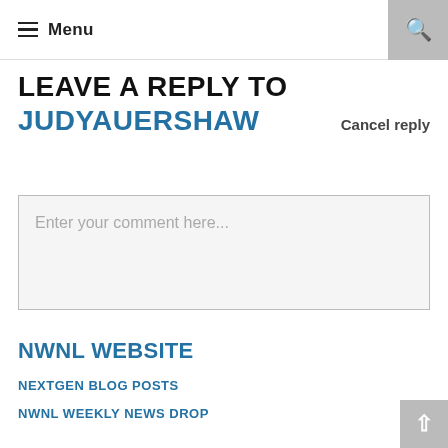Menu
LEAVE A REPLY TO JUDYAUERSHAW
Cancel reply
Enter your comment here...
NWNL WEBSITE
NEXTGEN BLOG POSTS
NWNL WEEKLY NEWS DROP